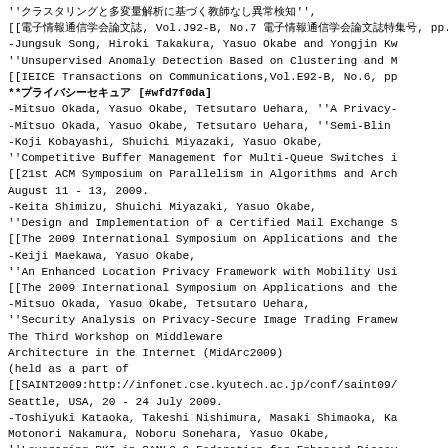''クラスタリングと多変量解析に基づく教師なし異常検知'',
[[電子情報通信学会論文誌, Vol.J92-B, No.7 電子情報通信学会論文誌特集号, pp.
-Jungsuk Song, Hiroki Takakura, Yasuo Okabe and Yongjin Kw
''Unsupervised Anomaly Detection Based on Clustering and M
[[IEICE Transactions on Communications,Vol.E92-B, No.6, pp
**プライバシーセキュア [#wfd7f0da]
-Mitsuo Okada, Yasuo Okabe, Tetsutaro Uehara, ''A Privacy-
-Mitsuo Okada, Yasuo Okabe, Tetsutaro Uehara, ''Semi-Blin
-Koji Kobayashi, Shuichi Miyazaki, Yasuo Okabe,
''Competitive Buffer Management for Multi-Queue Switches i
[[21st ACM Symposium on Parallelism in Algorithms and Arch
August 11 - 13, 2009.
-Keita Shimizu, Shuichi Miyazaki, Yasuo Okabe,
''Design and Implementation of a Certified Mail Exchange S
[[The 2009 International Symposium on Applications and the
-Keiji Maekawa, Yasuo Okabe,
''An Enhanced Location Privacy Framework with Mobility Usi
[[The 2009 International Symposium on Applications and the
-Mitsuo Okada, Yasuo Okabe, Tetsutaro Uehara,
''Security Analysis on Privacy-Secure Image Trading Framew
The Third Workshop on Middleware
Architecture in the Internet (MidArc2009)
(held as a part of
[[SAINT2009:http://infonet.cse.kyutech.ac.jp/conf/saint09/
Seattle, USA, 20 - 24 July 2009.
-Toshiyuki Kataoka, Takeshi Nishimura, Masaki Shimaoka, Ka
Motonori Nakamura, Noboru Sonehara, Yasuo Okabe,
''Leveraging PKI in SAML2.0 Federation for Enhanced Discov
The Third Workshop on Middleware